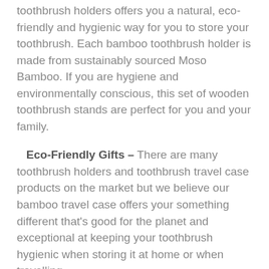toothbrush holders offers you a natural, eco-friendly and hygienic way for you to store your toothbrush. Each bamboo toothbrush holder is made from sustainably sourced Moso Bamboo. If you are hygiene and environmentally conscious, this set of wooden toothbrush stands are perfect for you and your family.
Eco-Friendly Gifts – There are many toothbrush holders and toothbrush travel case products on the market but we believe our bamboo travel case offers your something different that's good for the planet and exceptional at keeping your toothbrush hygienic when storing it at home or when travelling.
Organic, Plastic Free & Antibacterial – These striking EcoSlurps bamboo toothbrush holders are made from sustainably sourced bamboo which offers antibacterial and water-resistant properties ensuring you benefit from hygienic oral health when your toothbrush is stored. All bamboo toothbrush holders are posted in